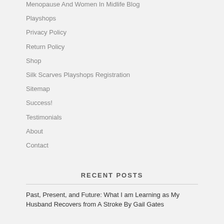Menopause And Women In Midlife Blog
Playshops
Privacy Policy
Return Policy
Shop
Silk Scarves Playshops Registration
Sitemap
Success!
Testimonials
About
Contact
RECENT POSTS
Past, Present, and Future: What I am Learning as My Husband Recovers from A Stroke By Gail Gates